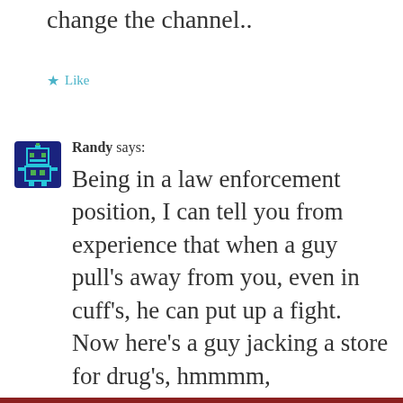change the channel..
★ Like
[Figure (illustration): Pixel art avatar icon of a robot/alien character in blue and green on dark blue background]
Randy says:
Being in a law enforcement position, I can tell you from experience that when a guy pull's away from you, even in cuff's, he can put up a fight. Now here's a guy jacking a store for drug's, hmmmm,